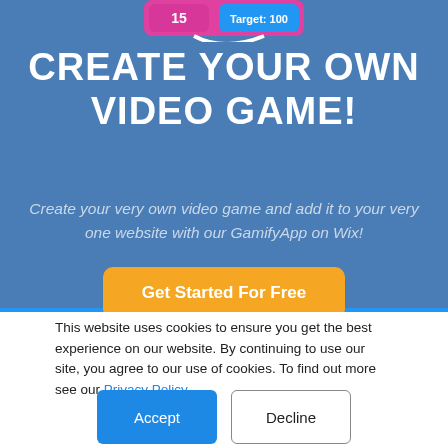[Figure (screenshot): Partial screenshot of a mobile game UI showing a pink/magenta bar with score '15' and 'Target: 100' label, with a white curved swoosh element below it.]
CREATE YOUR OWN VIDEO GAME!
Create your very own video game and add it to your very one website with our GamifyApp on Wix!
Get Started For Free
This website uses cookies to ensure you get the best experience on our website. By continuing to use our site, you agree to our use of cookies. To find out more see our Privacy Policy
Accept
Decline